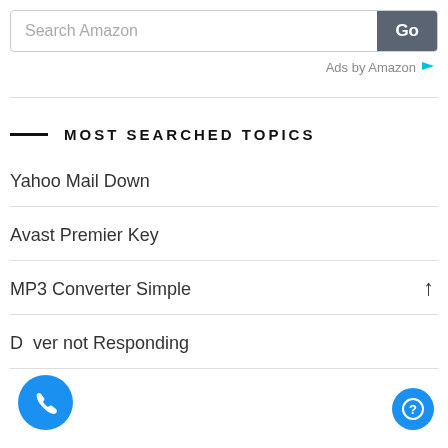[Figure (screenshot): Amazon search bar with 'Search Amazon' placeholder text and a dark 'Go' button on the right]
Ads by Amazon
MOST SEARCHED TOPICS
Yahoo Mail Down
Avast Premier Key
MP3 Converter Simple
D[river] not Responding